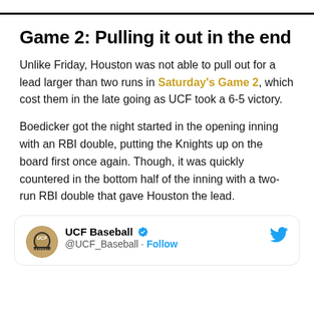Game 2: Pulling it out in the end
Unlike Friday, Houston was not able to pull out for a lead larger than two runs in Saturday's Game 2, which cost them in the late going as UCF took a 6-5 victory.
Boedicker got the night started in the opening inning with an RBI double, putting the Knights up on the board first once again. Though, it was quickly countered in the bottom half of the inning with a two-run RBI double that gave Houston the lead.
[Figure (screenshot): UCF Baseball Twitter/X card showing account name, verified badge, handle @UCF_Baseball, and Follow link]